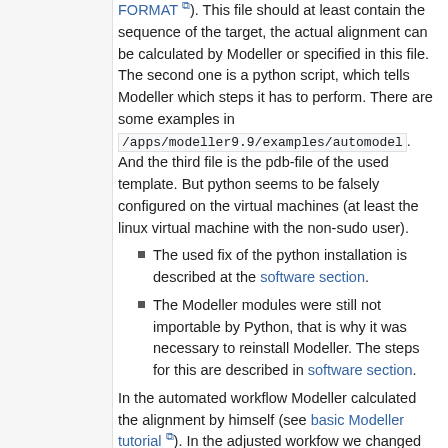FORMAT). This file should at least contain the sequence of the target, the actual alignment can be calculated by Modeller or specified in this file. The second one is a python script, which tells Modeller which steps it has to perform. There are some examples in /apps/modeller9.9/examples/automodel. And the third file is the pdb-file of the used template. But python seems to be falsely configured on the virtual machines (at least the linux virtual machine with the non-sudo user).
The used fix of the python installation is described at the software section.
The Modeller modules were still not importable by Python, that is why it was necessary to reinstall Modeller. The steps for this are described in software section.
In the automated workflow Modeller calculated the alignment by himself (see basic Modeller tutorial). In the adjusted workfow we changed the alignmentfile to match our alignment.